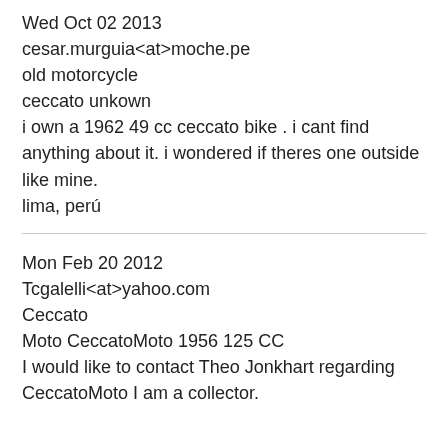Wed Oct 02 2013
cesar.murguia<at>moche.pe
old motorcycle
ceccato unkown
i own a 1962 49 cc ceccato bike . i cant find anything about it. i wondered if theres one outside like mine.
lima, perú
Mon Feb 20 2012
Tcgalelli<at>yahoo.com
Ceccato
Moto CeccatoMoto 1956 125 CC
I would like to contact Theo Jonkhart regarding CeccatoMoto I am a collector.